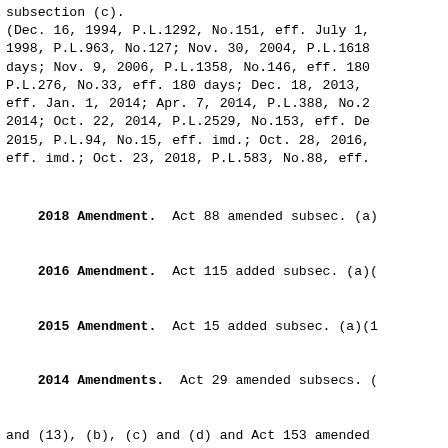subsection (c).
(Dec. 16, 1994, P.L.1292, No.151, eff. July 1, 1998, P.L.963, No.127; Nov. 30, 2004, P.L.1618 days; Nov. 9, 2006, P.L.1358, No.146, eff. 180 P.L.276, No.33, eff. 180 days; Dec. 18, 2013, eff. Jan. 1, 2014; Apr. 7, 2014, P.L.388, No.2 2014; Oct. 22, 2014, P.L.2529, No.153, eff. De 2015, P.L.94, No.15, eff. imd.; Oct. 28, 2016, eff. imd.; Oct. 23, 2018, P.L.583, No.88, eff.
2018 Amendment. Act 88 amended subsec. (a)
2016 Amendment. Act 115 added subsec. (a)(
2015 Amendment. Act 15 added subsec. (a)(1
2014 Amendments. Act 29 amended subsecs. ( and (13), (b), (c) and (d) and Act 153 amended and (c).
2013 Amendment. See section 6 of Act 107 i this title for special provisions relating to
2008 Amendment. Act 33 added subsec. (a)(1
2006 Amendment. Act 146 amended subsec. (a subsec. (a)(16).
2004 Amendment. Act 207 amended subsec. (a of Act 207 in the appendix to this title for s relating to construction of law.
1998 Amendment. Act 127 amended subsec. (a and added subsec. (a)(15), effective immediate (5) and (15) and March 1, 1999, as to the rema section.
References in Text. The act of April 13, 1 No.69), known as the Home Rule Charter and Opt